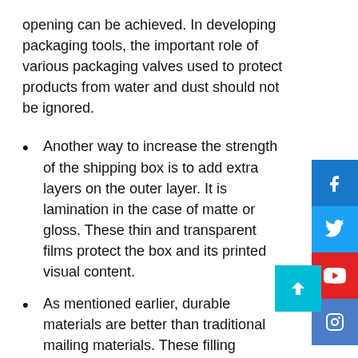opening can be achieved. In developing packaging tools, the important role of various packaging valves used to protect products from water and dust should not be ignored.
Another way to increase the strength of the shipping box is to add extra layers on the outer layer. It is lamination in the case of matte or gloss. These thin and transparent films protect the box and its printed visual content.
As mentioned earlier, durable materials are better than traditional mailing materials. These filling materials can provide better shock absorption and prevent the product from being damaged in the packaging.
When customers or recipients can use the shipping boxes to store other goods and take